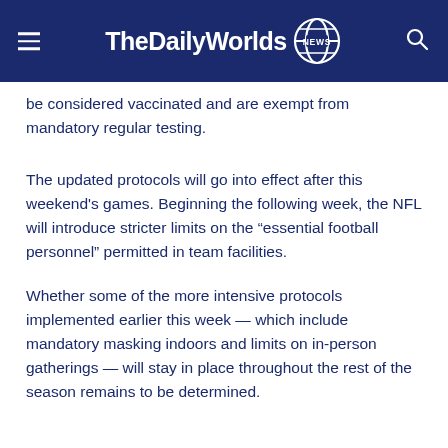TheDailyWorlds NEWS
be considered vaccinated and are exempt from mandatory regular testing.
The updated protocols will go into effect after this weekend's games. Beginning the following week, the NFL will introduce stricter limits on the “essential football personnel” permitted in team facilities.
Whether some of the more intensive protocols implemented earlier this week — which include mandatory masking indoors and limits on in-person gatherings — will stay in place throughout the rest of the season remains to be determined.